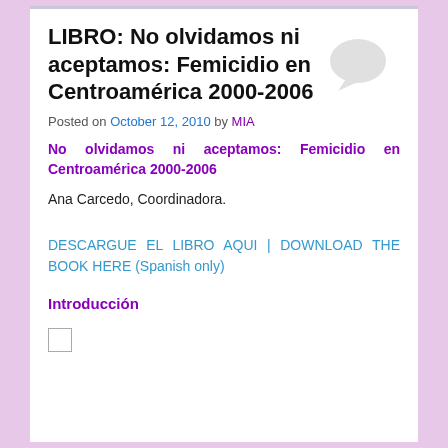LIBRO: No olvidamos ni aceptamos: Femicidio en Centroamérica 2000-2006
Posted on October 12, 2010 by MIA
No olvidamos ni aceptamos: Femicidio en Centroamérica 2000-2006
Ana Carcedo, Coordinadora.
DESCARGUE EL LIBRO AQUI | DOWNLOAD THE BOOK HERE (Spanish only)
Introducción
[Figure (other): Small empty checkbox square]